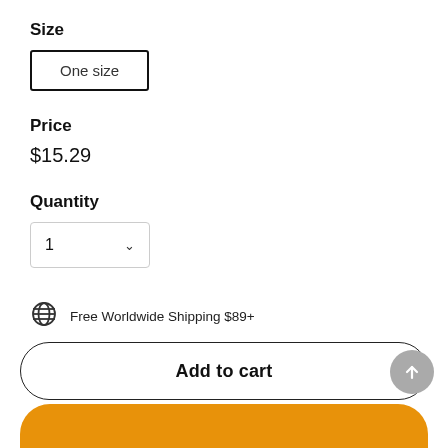Size
One size
Price
$15.29
Quantity
1
Free Worldwide Shipping $89+
10% OFF for New Customer, Code "SPIN10"
Add to cart